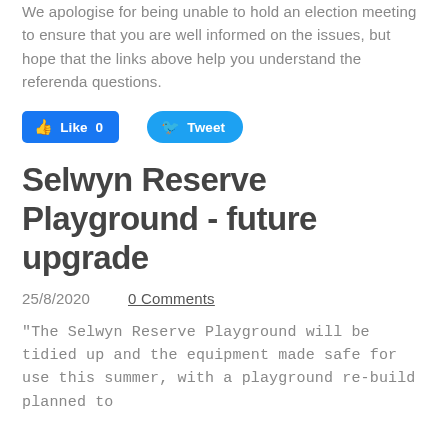We apologise for being unable to hold an election meeting to ensure that you are well informed on the issues, but hope that the links above help you understand the referenda questions.
[Figure (other): Facebook Like button (0 likes) and Twitter Tweet button]
Selwyn Reserve Playground - future upgrade
25/8/2020    0 Comments
"The Selwyn Reserve Playground will be tidied up and the equipment made safe for use this summer, with a playground re-build planned to